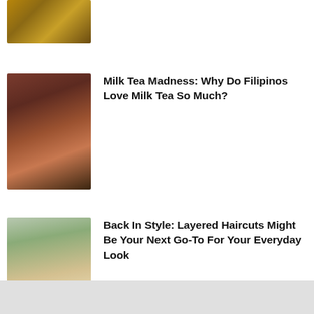[Figure (photo): Partial view of a photo at the top of the page, cropped — appears to show a night scene with lights]
Milk Tea Madness: Why Do Filipinos Love Milk Tea So Much?
[Figure (photo): A young woman drinking milk tea (boba) with a straw, wearing a dark red/maroon jacket, indoors]
Back In Style: Layered Haircuts Might Be Your Next Go-To For Your Everyday Look
[Figure (photo): A young woman with long layered hair smiling, wearing a beige jacket, outdoors/window background]